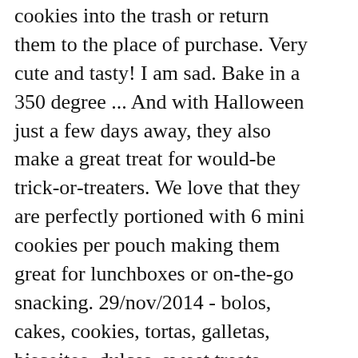cookies into the trash or return them to the place of purchase. Very cute and tasty! I am sad. Bake in a 350 degree ... And with Halloween just a few days away, they also make a great treat for would-be trick-or-treaters. We love that they are perfectly portioned with 6 mini cookies per pouch making them great for lunchboxes or on-the-go snacking. 29/nov/2014 - bolos, cakes, cookies, tortas, galletas, biscoitos, dulces, sweet treats, decorated cookies, thematic cakes, cupcakes Prevent bites by using an EPA-approved mosquito repellent containing DEET, Picaridin, IR3535, Para-menthane-diol, 2-undecanone, or Oil of Lemon Eucalyptus. Entenmann's Little Bites® Soft Baked Party Cake Cookies are definitely worth celebrating. Little Bites' newest snack is their Soft Baked Party Cookies. $10 OFF 1 Dozen or More - Promo Code: GIFT10. Little Bites of